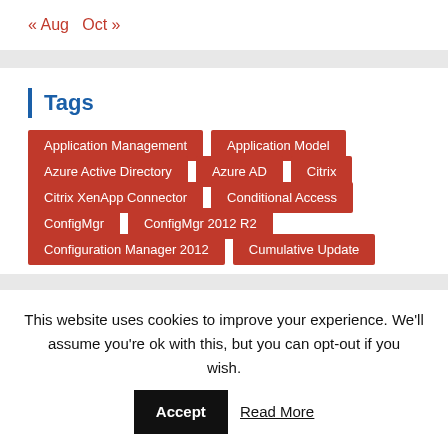« Aug   Oct »
Tags
Application Management
Application Model
Azure Active Directory
Azure AD
Citrix
Citrix XenApp Connector
Conditional Access
ConfigMgr
ConfigMgr 2012 R2
Configuration Manager 2012
Cumulative Update
This website uses cookies to improve your experience. We'll assume you're ok with this, but you can opt-out if you wish.   Accept   Read More